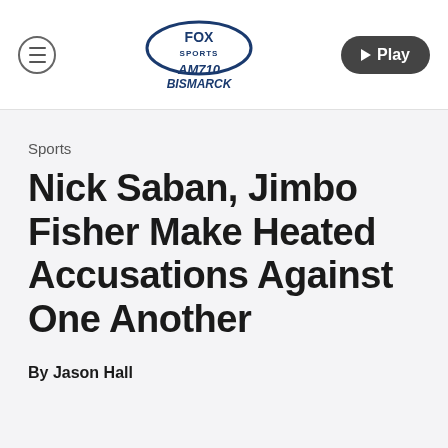[Figure (logo): Fox Sports AM710 Bismarck logo with navigation bar including hamburger menu and Play button]
Sports
Nick Saban, Jimbo Fisher Make Heated Accusations Against One Another
By Jason Hall